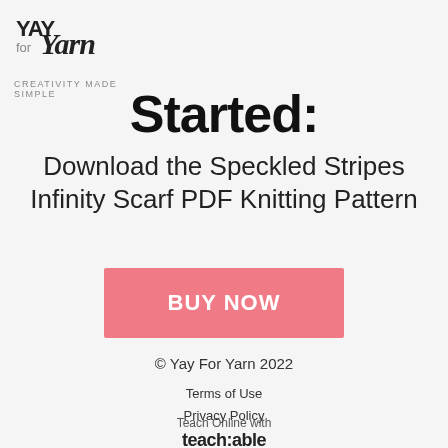[Figure (logo): Yay for Yarn logo with tagline CREATIVITY MADE SIMPLE]
Started:
Download the Speckled Stripes Infinity Scarf PDF Knitting Pattern
BUY NOW
© Yay For Yarn 2022
Terms of Use
Privacy Policy
Teach Online with teachable